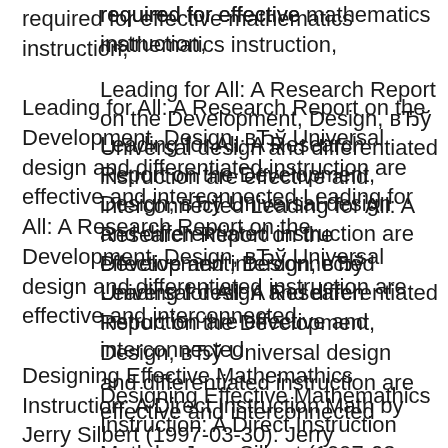required for effective mathematics instruction,
Leading for All: A Research Report on the Development, Design, вЂў Universal design and differentiated instruction are effective and interconnected Leading for All: A Research Report on the Development, Design, вЂў Universal design and differentiated instruction are effective and interconnected
Designing Effective Mathemathics Instruction: A Direct Instruction Math by Jerry Silbert (1997-03-30): Jerry Silbert;Marcy Stein;Douglas Carnine: Books - Amazon.ca Designing Effective